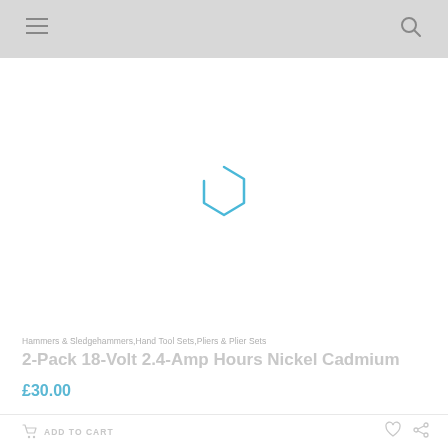[Figure (screenshot): Loading spinner — partial blue hexagon/circle outline on white background, indicating product image is loading]
Hammers & Sledgehammers,Hand Tool Sets,Pliers & Plier Sets
2-Pack 18-Volt 2.4-Amp Hours Nickel Cadmium
£30.00
ADD TO CART